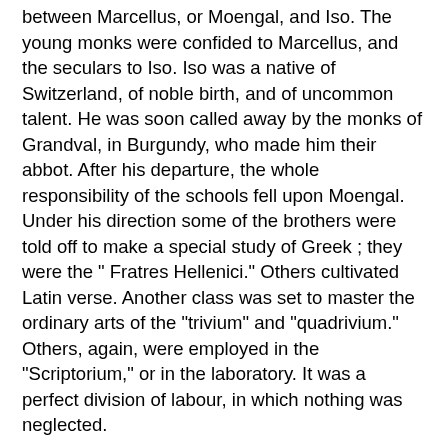between Marcellus, or Moengal, and Iso. The young monks were confided to Marcellus, and the seculars to Iso. Iso was a native of Switzerland, of noble birth, and of uncommon talent. He was soon called away by the monks of Grandval, in Burgundy, who made him their abbot. After his departure, the whole responsibility of the schools fell upon Moengal. Under his direction some of the brothers were told off to make a special study of Greek ; they were the " Fratres Hellenici." Others cultivated Latin verse. Another class was set to master the ordinary arts of the "trivium" and "quadrivium." Others, again, were employed in the "Scriptorium," or in the laboratory. It was a perfect division of labour, in which nothing was neglected.
Amongst the many scholars trained by Marcellus, three became celebrated all over Europe. They were Notker, Ratpert, and Tuotilo. Notker belonged to a noble family of Thurgovia. He was, in every sense, the most admirable of the three. From his youth he had been afflicted with a delicate constitution, and with a defect in his speech, which gained him the name of Balbulus. He had, however, studied with the greatest diligence under Marcellus, and became a polished Latin scholar. His Martyrologium is one of the most